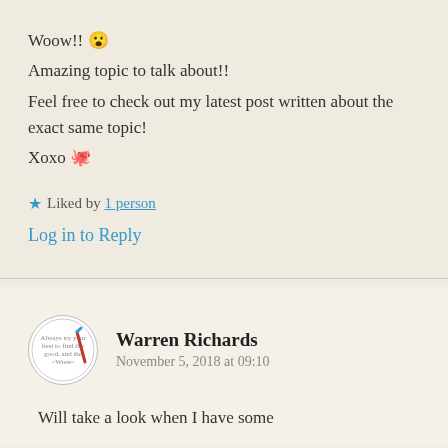Woow!! 😮
Amazing topic to talk about!!
Feel free to check out my latest post written about the exact same topic!
Xoxo 🐙
★ Liked by 1 person
Log in to Reply
Warren Richards
November 5, 2018 at 09:10
Will take a look when I have some